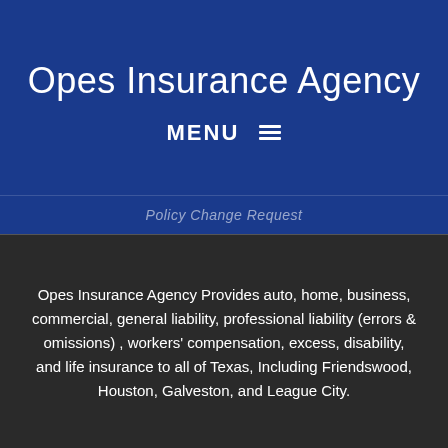Opes Insurance Agency
MENU ≡
Policy Change Request
Opes Insurance Agency Provides auto, home, business, commercial, general liability, professional liability (errors & omissions) , workers' compensation, excess, disability, and life insurance to all of Texas, Including Friendswood, Houston, Galveston, and League City.